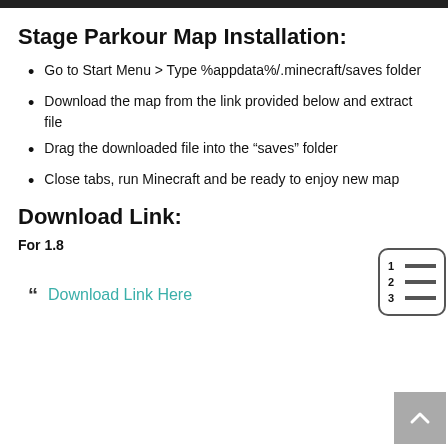Stage Parkour Map Installation:
Go to Start Menu > Type %appdata%/.minecraft/saves folder
Download the map from the link provided below and extract file
Drag the downloaded file into the “saves” folder
Close tabs, run Minecraft and be ready to enjoy new map
Download Link:
For 1.8
“ Download Link Here